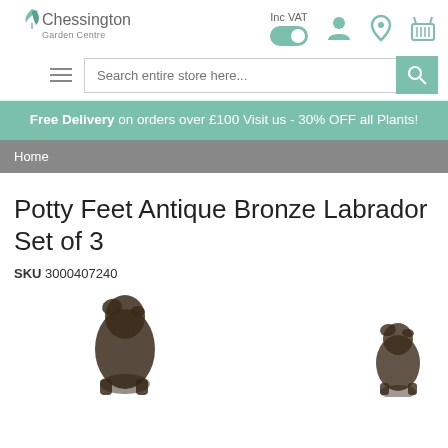[Figure (logo): Chessington Garden Centre logo with leaf icon]
[Figure (other): Inc VAT toggle switch (on), user account icon, location pin icon, and basket/cart icon]
Search entire store here...
Free Delivery on orders over £100
Visit us - 30% OFF all Plants!
Home
Potty Feet Antique Bronze Labrador Set of 3
SKU 3000407240
[Figure (photo): Two small antique bronze Labrador dog figurines used as potty feet]